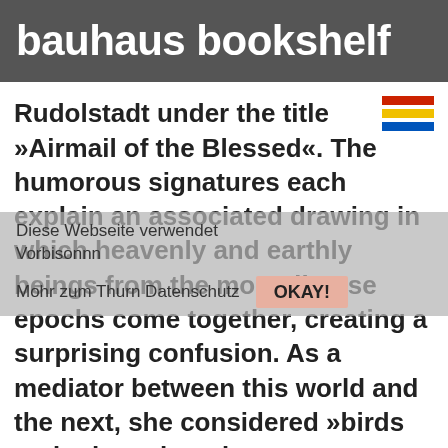bauhaus bookshelf
Rudolstadt under the title »Airmail of the Blessed«. The humorous signatures each explain an associated drawing in which heavenly and earthly beings from the most diverse epochs come together, creating a surprising confusion. As a mediator between this world and the next, she considered »birds and other winged creatures«, which she mainly depicted in meticulously dotted, black and white pen and ink drawings.
[Figure (illustration): Three horizontal stripes: red on top, yellow in middle, blue on bottom — a simplified Bauhaus/flag icon.]
Diese Webseite verwendet
Vorbisonnn
Mohr zum Thurn Datenschutz
OKAY!